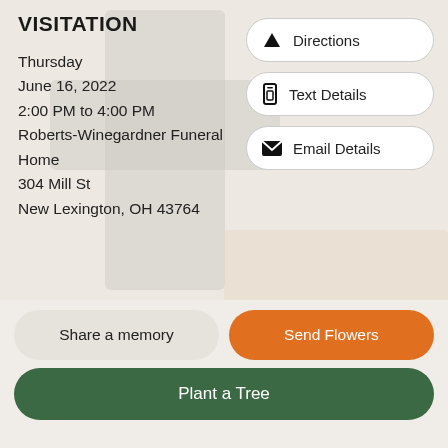VISITATION
Thursday
June 16, 2022
2:00 PM to 4:00 PM
Roberts-Winegardner Funeral Home
304 Mill St
New Lexington, OH 43764
[Figure (other): Directions button with road icon]
[Figure (other): Text Details button with phone icon]
[Figure (other): Email Details button with envelope icon]
VISITATION
Thursday
June 16, 2022
[Figure (other): Directions button with road icon]
[Figure (other): Text Details button with phone icon]
[Figure (other): Share a memory button]
[Figure (other): Send Flowers button]
[Figure (other): Plant a Tree button]